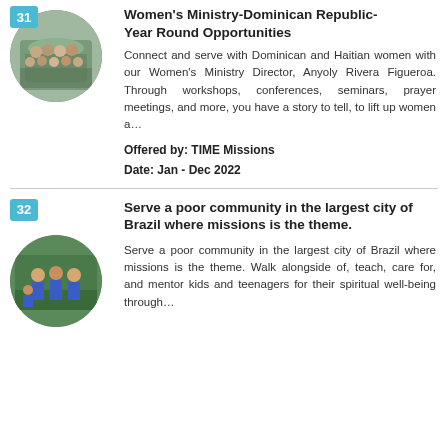[Figure (photo): Circular photo of a group of women gathered indoors, with number badge 31 in top-left corner]
Women's Ministry-Dominican Republic-Year Round Opportunities
Connect and serve with Dominican and Haitian women with our Women's Ministry Director, Anyoly Rivera Figueroa. Through workshops, conferences, seminars, prayer meetings, and more, you have a story to tell, to lift up women a…
Offered by: TIME Missions
Date: Jan - Dec 2022
[Figure (photo): Circular photo of people in blue sports uniforms outdoors, with number badge 32 in top-left corner]
Serve a poor community in the largest city of Brazil where missions is the theme.
Serve a poor community in the largest city of Brazil where missions is the theme. Walk alongside of, teach, care for, and mentor kids and teenagers for their spiritual well-being through…